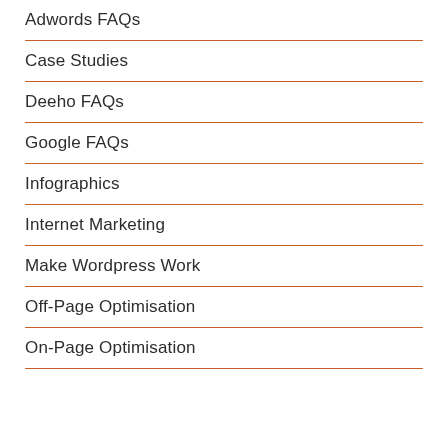Adwords FAQs
Case Studies
Deeho FAQs
Google FAQs
Infographics
Internet Marketing
Make Wordpress Work
Off-Page Optimisation
On-Page Optimisation